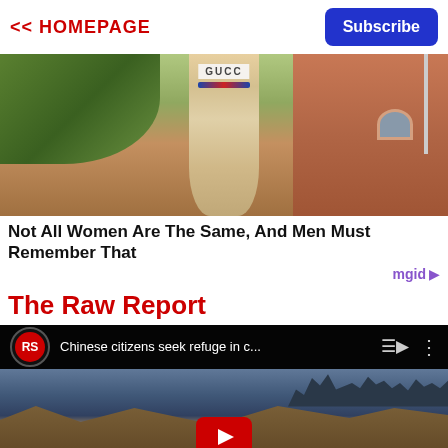<< HOMEPAGE
Subscribe
[Figure (photo): Woman in white Gucci outfit standing outdoors with trees on left and an orange/terracotta building on the right]
Not All Women Are The Same, And Men Must Remember That
mgid ▷
The Raw Report
[Figure (screenshot): YouTube video embed showing RS channel logo and title 'Chinese citizens seek refuge in c...' with cracked earth and city skyline background image. YouTube play button visible at bottom center.]